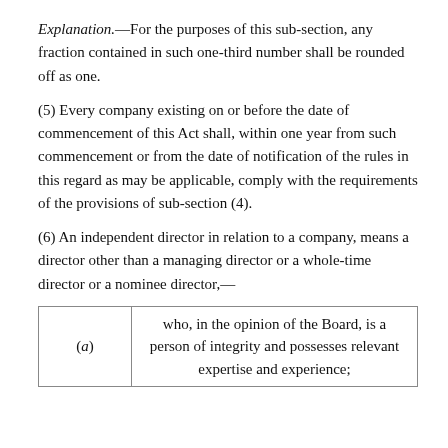Explanation.—For the purposes of this sub-section, any fraction contained in such one-third number shall be rounded off as one.
(5) Every company existing on or before the date of commencement of this Act shall, within one year from such commencement or from the date of notification of the rules in this regard as may be applicable, comply with the requirements of the provisions of sub-section (4).
(6) An independent director in relation to a company, means a director other than a managing director or a whole-time director or a nominee director,—
| (a) | who, in the opinion of the Board, is a person of integrity and possesses relevant expertise and experience; |